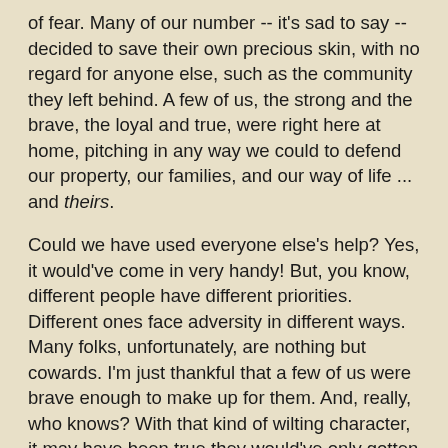of fear. Many of our number -- it's sad to say -- decided to save their own precious skin, with no regard for anyone else, such as the community they left behind. A few of us, the strong and the brave, the loyal and true, were right here at home, pitching in any way we could to defend our property, our families, and our way of life ... and theirs.
Could we have used everyone else's help? Yes, it would've come in very handy! But, you know, different people have different priorities. Different ones face adversity in different ways. Many folks, unfortunately, are nothing but cowards. I'm just thankful that a few of us were brave enough to make up for them. And, really, who knows? With that kind of wilting character, it may have been true they would've only gotten in the way anyway. They'd always need someone to hold their trembling little hands, lest they got the vapors and wilted away to nothing.
But ... let's let bygones be bygones ... they're on their way home now, now that the danger has passed, so let's open our arms and say, "Welcome home!" If we can physically say the words. We can only hope there's no crisis on the road